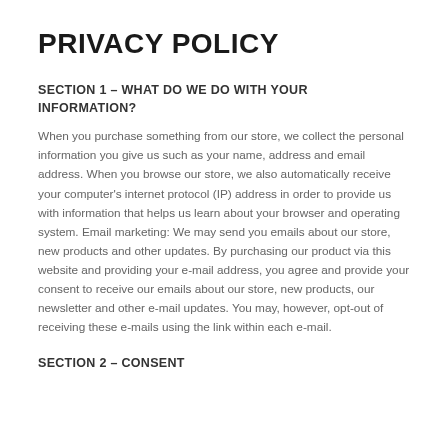PRIVACY POLICY
SECTION 1 – WHAT DO WE DO WITH YOUR INFORMATION?
When you purchase something from our store, we collect the personal information you give us such as your name, address and email address. When you browse our store, we also automatically receive your computer's internet protocol (IP) address in order to provide us with information that helps us learn about your browser and operating system. Email marketing: We may send you emails about our store, new products and other updates. By purchasing our product via this website and providing your e-mail address, you agree and provide your consent to receive our emails about our store, new products, our newsletter and other e-mail updates. You may, however, opt-out of receiving these e-mails using the link within each e-mail.
SECTION 2 – CONSENT